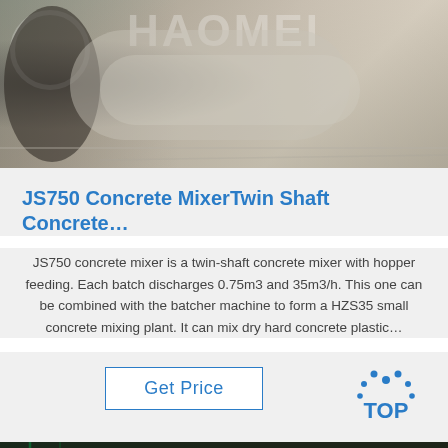[Figure (photo): Photo of a person handling a large cylindrical concrete mixer drum component, with a watermark overlay reading HAOMEI]
JS750 Concrete MixerTwin Shaft Concrete…
JS750 concrete mixer is a twin-shaft concrete mixer with hopper feeding. Each batch discharges 0.75m3 and 35m3/h. This one can be combined with the batcher machine to form a HZS35 small concrete mixing plant. It can mix dry hard concrete plastic…
[Figure (logo): TOP logo with dotted arc above the word TOP in blue]
[Figure (photo): Bottom partial photo showing green industrial machinery or pipes, dark background]